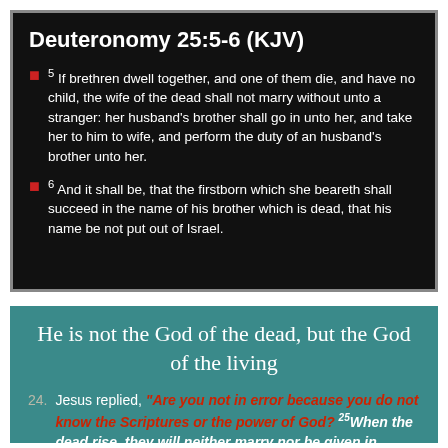Deuteronomy 25:5-6 (KJV)
5 If brethren dwell together, and one of them die, and have no child, the wife of the dead shall not marry without unto a stranger: her husband's brother shall go in unto her, and take her to him to wife, and perform the duty of an husband's brother unto her.
6 And it shall be, that the firstborn which she beareth shall succeed in the name of his brother which is dead, that his name be not put out of Israel.
He is not the God of the dead, but the God of the living
24. Jesus replied, "Are you not in error because you do not know the Scriptures or the power of God? 25When the dead rise, they will neither marry nor be given in marriage; they will be like the angels...